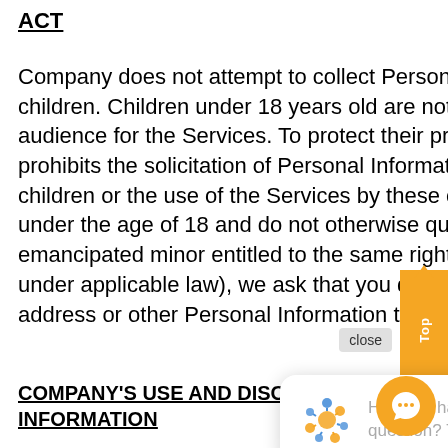ACT
Company does not attempt to collect Personal Information from children. Children under 18 years old are not the target audience for the Services. To protect their privacy, Company prohibits the solicitation of Personal Information from these children or the use of the Services by these children. If you are under the age of 18 and do not otherwise qualify as an emancipated minor entitled to the same rights as an adult under applicable law), we ask that you do not submit your email address or other Personal Information through this site.
COMPANY'S USE AND DISCLOSURE OF INFORMATION